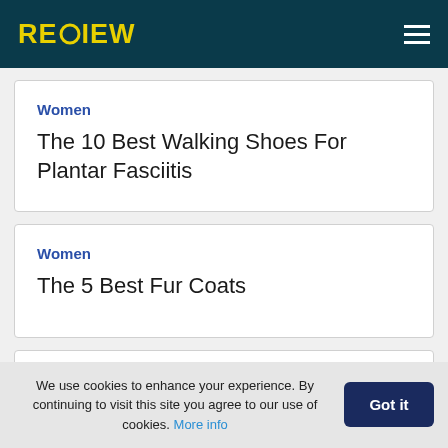RECIEW
Women
The 10 Best Walking Shoes For Plantar Fasciitis
Women
The 5 Best Fur Coats
We use cookies to enhance your experience. By continuing to visit this site you agree to our use of cookies. More info